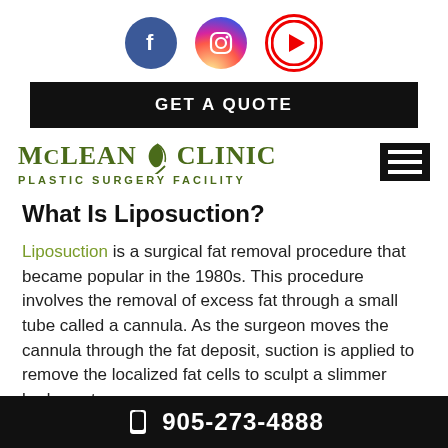[Figure (other): Social media icons: Facebook (blue circle with f), Instagram (gradient circle with camera icon), YouTube (red circle with play button)]
GET A QUOTE
[Figure (logo): McLean Clinic — Plastic Surgery Facility logo with stylized leaf/swish graphic in olive/green, plus hamburger menu button on right]
What Is Liposuction?
Liposuction is a surgical fat removal procedure that became popular in the 1980s. This procedure involves the removal of excess fat through a small tube called a cannula. As the surgeon moves the cannula through the fat deposit, suction is applied to remove the localized fat cells to sculpt a slimmer body contour.
905-273-4888